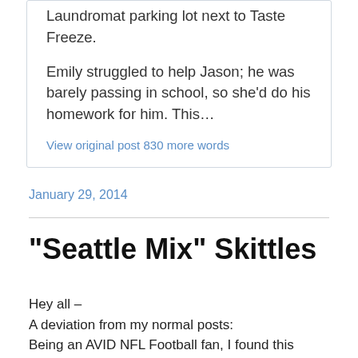Laundromat parking lot next to Taste Freeze.
Emily struggled to help Jason; he was barely passing in school, so she'd do his homework for him. This…
View original post 830 more words
January 29, 2014
“Seattle Mix” Skittles
Hey all –
A deviation from my normal posts:
Being an AVID NFL Football fan, I found this article by Gregg Rosenthal quite entertaining: Marshawn Lynch,